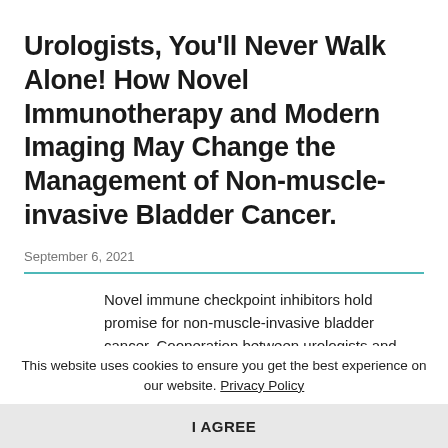Urologists, You'll Never Walk Alone! How Novel Immunotherapy and Modern Imaging May Change the Management of Non-muscle-invasive Bladder Cancer.
September 6, 2021
Novel immune checkpoint inhibitors hold promise for non-muscle-invasive bladder cancer. Cooperation between urologists and other multidisciplinary bladder cancer specialists may present the...
This website uses cookies to ensure you get the best experience on our website. Privacy Policy
I AGREE